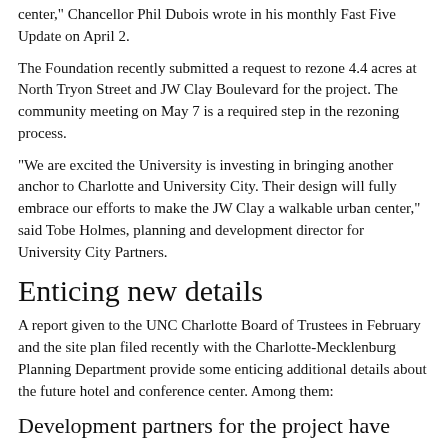center," Chancellor Phil Dubois wrote in his monthly Fast Five Update on April 2.
The Foundation recently submitted a request to rezone 4.4 acres at North Tryon Street and JW Clay Boulevard for the project. The community meeting on May 7 is a required step in the rezoning process.
“We are excited the University is investing in bringing another anchor to Charlotte and University City. Their design will fully embrace our efforts to make the JW Clay a walkable urban center,” said Tobe Holmes, planning and development director for University City Partners.
Enticing new details
A report given to the UNC Charlotte Board of Trustees in February and the site plan filed recently with the Charlotte-Mecklenburg Planning Department provide some enticing additional details about the future hotel and conference center. Among them:
Development partners for the project have impressive resumes
Stormont Hospitality Group has completed more than $2...
[Figure (photo): Image of Raleigh Marriott City Center building with caption: The principals of Stormont Hospitality Group led the development of Raleigh Marriott City Center.]
The principals of Stormont Hospitality Group led the development of Raleigh Marriott City Center.